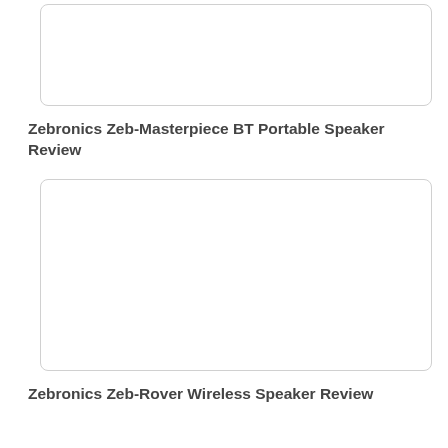[Figure (photo): Empty white image placeholder box with rounded corners and light gray border]
Zebronics Zeb-Masterpiece BT Portable Speaker Review
[Figure (photo): Empty white image placeholder box with rounded corners and light gray border]
Zebronics Zeb-Rover Wireless Speaker Review